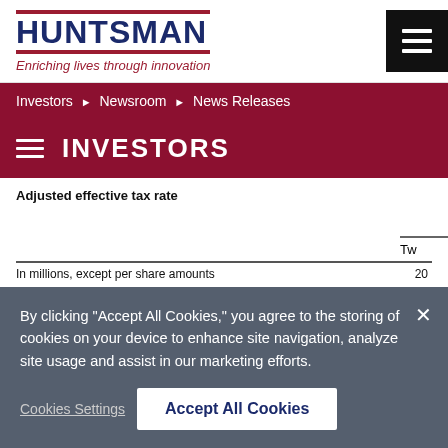[Figure (logo): Huntsman Corporation logo with blue text and red horizontal lines, tagline 'Enriching lives through innovation' in red italic below]
Investors ► Newsroom ► News Releases
INVESTORS
Adjusted effective tax rate
Tw
In millions, except per share amounts	20
By clicking "Accept All Cookies," you agree to the storing of cookies on your device to enhance site navigation, analyze site usage and assist in our marketing efforts.
Cookies Settings
Accept All Cookies